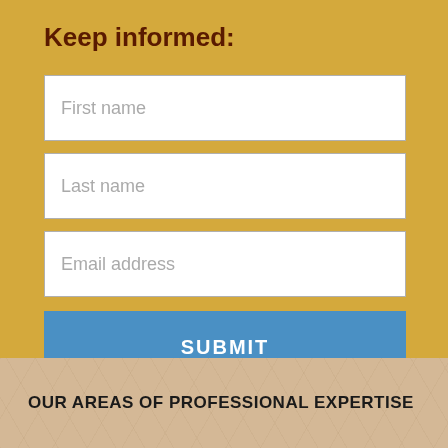Keep informed:
First name
Last name
Email address
SUBMIT
OUR AREAS OF PROFESSIONAL EXPERTISE